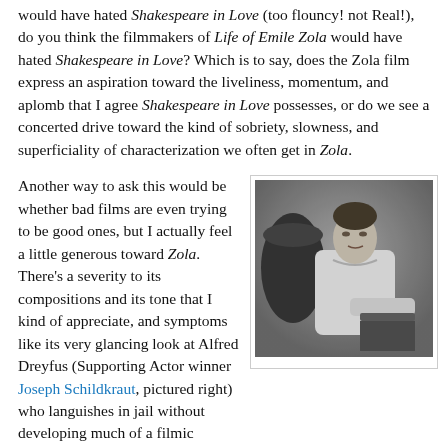would have hated Shakespeare in Love (too flouncy! not Real!), do you think the filmmakers of Life of Emile Zola would have hated Shakespeare in Love? Which is to say, does the Zola film express an aspiration toward the liveliness, momentum, and aplomb that I agree Shakespeare in Love possesses, or do we see a concerted drive toward the kind of sobriety, slowness, and superficiality of characterization we often get in Zola.
Another way to ask this would be whether bad films are even trying to be good ones, but I actually feel a little generous toward Zola. There's a severity to its compositions and its tone that I kind of appreciate, and symptoms like its very glancing look at Alfred Dreyfus (Supporting Actor winner Joseph Schildkraut, pictured right) who languishes in jail without developing much of a filmic "personality," COULD be a way of expressing what Dreyfus is losing (i.e., a three-
[Figure (photo): Black and white photograph of a man (Joseph Schildkraut as Alfred Dreyfus) seated and looking to the right, wearing a light-colored loose shirt, with a dark barrel or container visible to his left.]